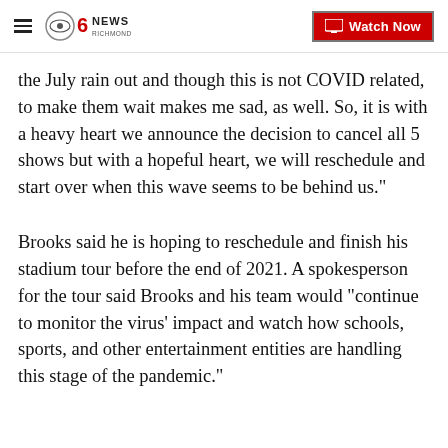CBS6 NEWS RICHMOND — Watch Now
the July rain out and though this is not COVID related, to make them wait makes me sad, as well. So, it is with a heavy heart we announce the decision to cancel all 5 shows but with a hopeful heart, we will reschedule and start over when this wave seems to be behind us."
Brooks said he is hoping to reschedule and finish his stadium tour before the end of 2021. A spokesperson for the tour said Brooks and his team would "continue to monitor the virus' impact and watch how schools, sports, and other entertainment entities are handling this stage of the pandemic."